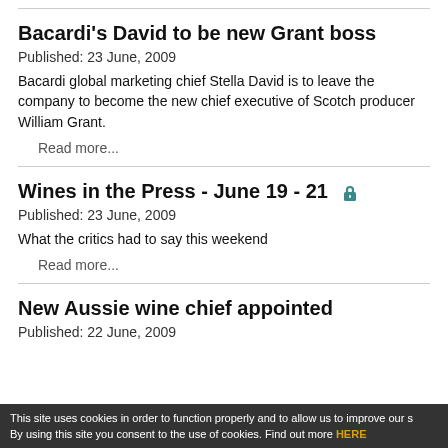Bacardi's David to be new Grant boss
Published:  23 June, 2009
Bacardi global marketing chief Stella David is to leave the company to become the new chief executive of Scotch producer William Grant.
Read more...
Wines in the Press - June 19 - 21
Published:  23 June, 2009
What the critics had to say this weekend
Read more...
New Aussie wine chief appointed
Published:  22 June, 2009
This site uses cookies in order to function properly and to allow us to improve our s By using this site you consent to the use of cookies. Find out more HERE